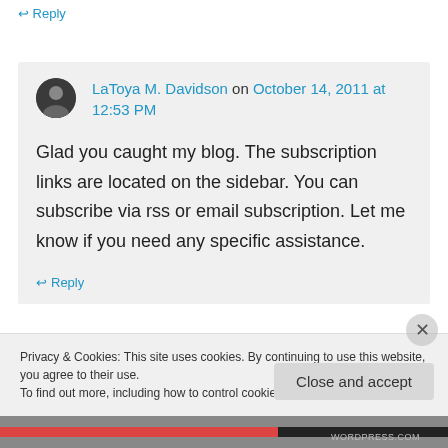↩ Reply
LaToya M. Davidson on October 14, 2011 at 12:53 PM
Glad you caught my blog. The subscription links are located on the sidebar. You can subscribe via rss or email subscription. Let me know if you need any specific assistance.
↩ Reply
Privacy & Cookies: This site uses cookies. By continuing to use this website, you agree to their use. To find out more, including how to control cookies, see here: Cookie Policy
Close and accept